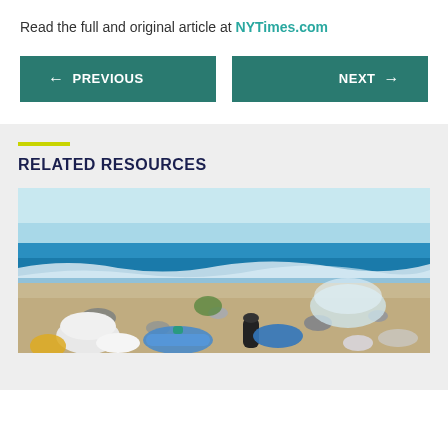Read the full and original article at NYTimes.com
← PREVIOUS
NEXT →
RELATED RESOURCES
[Figure (photo): Plastic bottles and waste scattered on a sandy beach with blue ocean waves in the background]